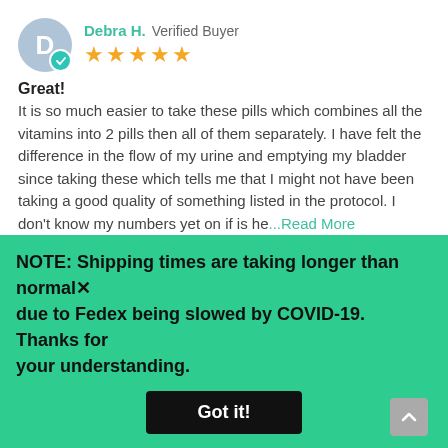Debra H. Verified Buyer — 5 stars
Great!
It is so much easier to take these pills which combines all the vitamins into 2 pills then all of them separately. I have felt the difference in the flow of my urine and emptying my bladder since taking these which tells me that I might not have been taking a good quality of something listed in the protocol. I don't know my numbers yet on if is he...Read More
Share |
04/09/21  👍 3  👎 0
Kara G. Verified Buyer
NOTE: Shipping times are taking longer than normal due to Fedex being slowed by COVID-19. Thanks for your understanding.
Got it!